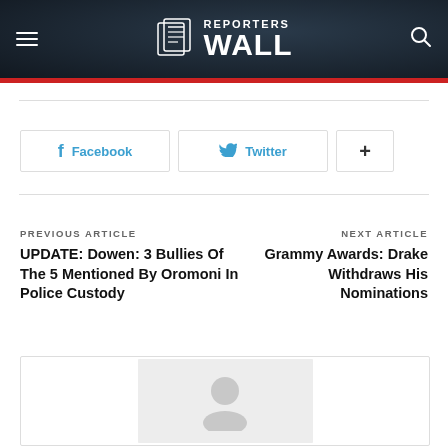REPORTERS WALL
Facebook  Twitter  +
PREVIOUS ARTICLE
UPDATE: Dowen: 3 Bullies Of The 5 Mentioned By Oromoni In Police Custody
NEXT ARTICLE
Grammy Awards: Drake Withdraws His Nominations
[Figure (illustration): Author avatar placeholder image with grey background and silhouette icon]